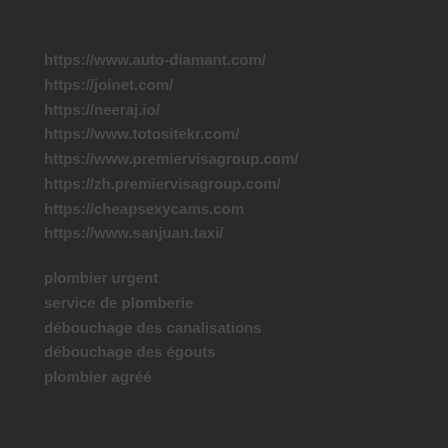https://www.auto-diamant.com/
https://joinet.com/
https://neeraj.io/
https://www.totositekr.com/
https://www.premiervisagroup.com/
https://zh.premiervisagroup.com/
https://cheapsexycams.com
https://www.sanjuan.taxi/
plombier urgent
service de plomberie
débouchage des canalisations
débouchage des égouts
plombier agréé